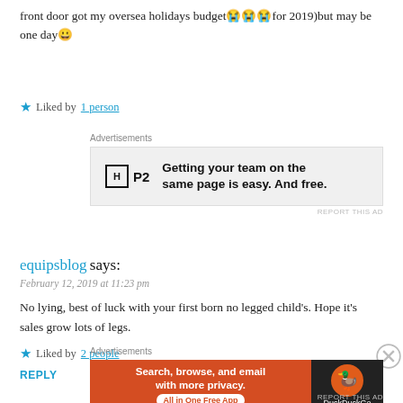front door got my oversea holidays budget😭😭😭for 2019)but may be one day😀
★ Liked by 1 person
[Figure (screenshot): P2 advertisement banner: Getting your team on the same page is easy. And free.]
REPORT THIS AD
equipsblog says:
February 12, 2019 at 11:23 pm
No lying, best of luck with your first born no legged child's. Hope it's sales grow lots of legs.
★ Liked by 2 people
REPLY
[Figure (screenshot): DuckDuckGo advertisement: Search, browse, and email with more privacy. All in One Free App.]